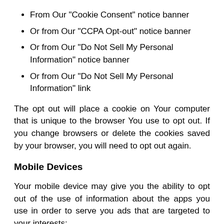From Our "Cookie Consent" notice banner
Or from Our "CCPA Opt-out" notice banner
Or from Our "Do Not Sell My Personal Information" notice banner
Or from Our "Do Not Sell My Personal Information" link
The opt out will place a cookie on Your computer that is unique to the browser You use to opt out. If you change browsers or delete the cookies saved by your browser, you will need to opt out again.
Mobile Devices
Your mobile device may give you the ability to opt out of the use of information about the apps you use in order to serve you ads that are targeted to your interests: